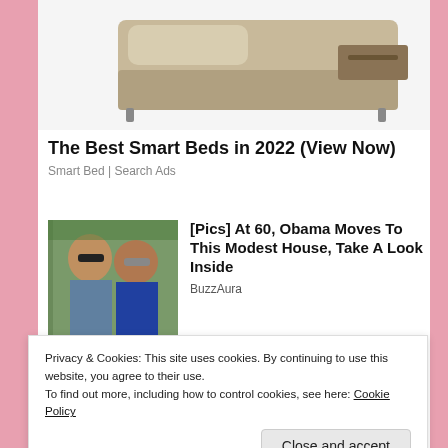[Figure (photo): Partial view of a smart bed with a drawer open, beige/tan color, product photo on white background]
The Best Smart Beds in 2022 (View Now)
Smart Bed | Search Ads
[Figure (photo): Two people wearing sunglasses outdoors, man in blue shirt and woman in blue dress, with greenery in background]
[Pics] At 60, Obama Moves To This Modest House, Take A Look Inside
BuzzAura
[Figure (photo): Partial image of an outdoor scene, dark tones]
[Pics] Plugs Always Have These Two
Privacy & Cookies: This site uses cookies. By continuing to use this website, you agree to their use.
To find out more, including how to control cookies, see here: Cookie Policy
Toronto, Ontario, Canada